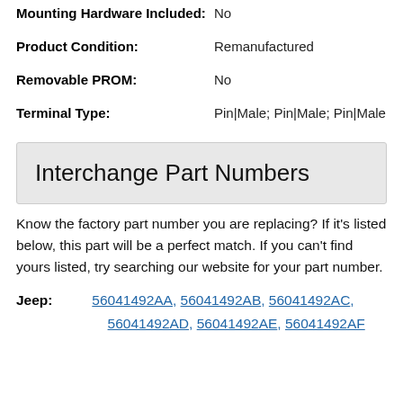Mounting Hardware Included: No
Product Condition: Remanufactured
Removable PROM: No
Terminal Type: Pin|Male; Pin|Male; Pin|Male
Interchange Part Numbers
Know the factory part number you are replacing? If it's listed below, this part will be a perfect match. If you can't find yours listed, try searching our website for your part number.
Jeep: 56041492AA, 56041492AB, 56041492AC, 56041492AD, 56041492AE, 56041492AF